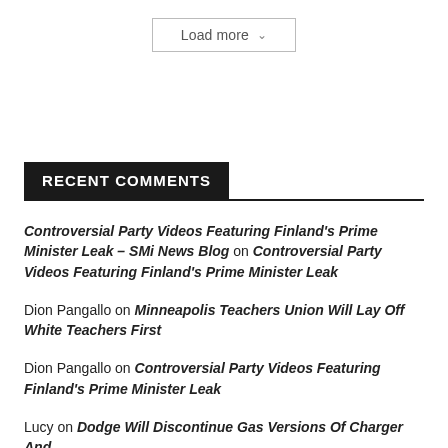Load more
RECENT COMMENTS
Controversial Party Videos Featuring Finland's Prime Minister Leak – SMi News Blog on Controversial Party Videos Featuring Finland's Prime Minister Leak
Dion Pangallo on Minneapolis Teachers Union Will Lay Off White Teachers First
Dion Pangallo on Controversial Party Videos Featuring Finland's Prime Minister Leak
Lucy on Dodge Will Discontinue Gas Versions Of Charger And